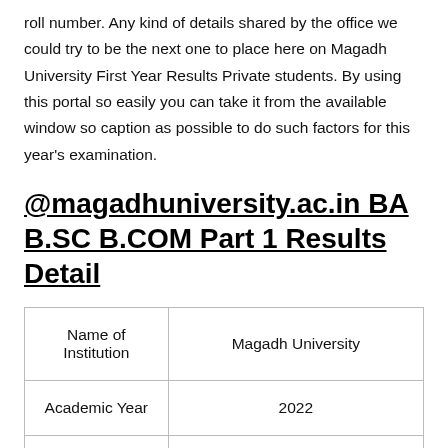roll number. Any kind of details shared by the office we could try to be the next one to place here on Magadh University First Year Results Private students. By using this portal so easily you can take it from the available window so caption as possible to do such factors for this year's examination.
@magadhuniversity.ac.in BA B.SC B.COM Part 1 Results Detail
| Name of Institution | Magadh University |
| --- | --- |
| Academic Year | 2022 |
| Exam | Magadh University Exam 2022 |
|  |  |